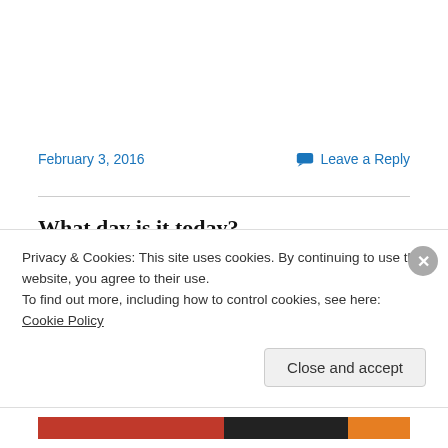February 3, 2016
Leave a Reply
What day is it today?
FEBRUARY 2016
Privacy & Cookies: This site uses cookies. By continuing to use this website, you agree to their use.
To find out more, including how to control cookies, see here: Cookie Policy
Close and accept